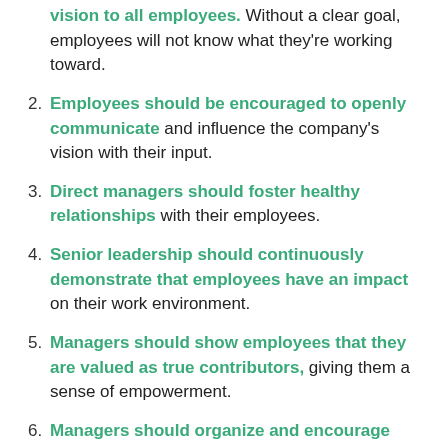vision to all employees. Without a clear goal, employees will not know what they're working toward.
Employees should be encouraged to openly communicate and influence the company's vision with their input.
Direct managers should foster healthy relationships with their employees.
Senior leadership should continuously demonstrate that employees have an impact on their work environment.
Managers should show employees that they are valued as true contributors, giving them a sense of empowerment.
Managers should organize and encourage team volunteerism in communities as a way